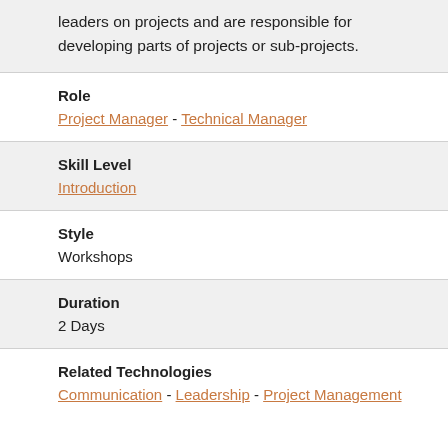leaders on projects and are responsible for developing parts of projects or sub-projects.
| Role | Project Manager - Technical Manager |
| Skill Level | Introduction |
| Style | Workshops |
| Duration | 2 Days |
| Related Technologies | Communication - Leadership - Project Management |